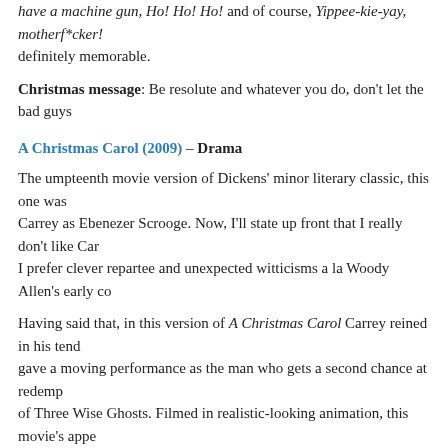have a machine gun, Ho! Ho! Ho! and of course, Yippee-kie-yay, motherf*cker! definitely memorable.
Christmas message: Be resolute and whatever you do, don't let the bad guys
A Christmas Carol (2009) – Drama
The umpteenth movie version of Dickens' minor literary classic, this one was Carrey as Ebenezer Scrooge. Now, I'll state up front that I really don't like Car I prefer clever repartee and unexpected witticisms a la Woody Allen's early co
Having said that, in this version of A Christmas Carol Carrey reined in his tend gave a moving performance as the man who gets a second chance at redemp of Three Wise Ghosts. Filmed in realistic-looking animation, this movie's appe well as family-oriented eye candy. A wonderful achievement.
Christmas message: Even the most damned soul can turn his life around if he Christmas.
A Christmas Story (1984) – Comedy
All Ralphie (Peter Billingsley) wants for Christmas is a Red Ryder BB gun, but h Melinda Dillon) worry that he's not old enough for such a potentially dangerou nostalgia, this story set in a 1940s Chicago suburb is based on the boyhood m